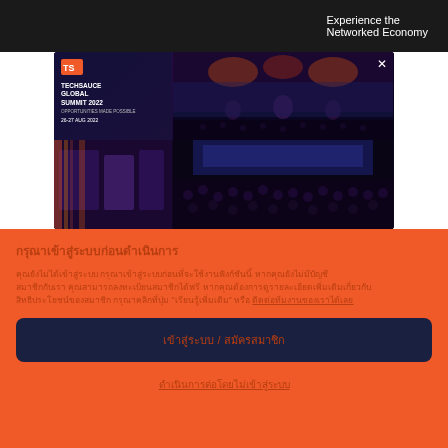[Figure (screenshot): Dark top bar with 'Experience the Networked Economy' text]
[Figure (screenshot): Techsauce Global Summit 2022 popup/modal with event photos showing stage, crowd, speakers. Logo, title 'TECHSAUCE GLOBAL SUMMIT 2022', date '26-27 AUG 2022', timer '00:29', close X button]
Thai title text (bold)
Thai body text with underlined link at the end
Thai button label (dark background)
Thai underlined link at bottom